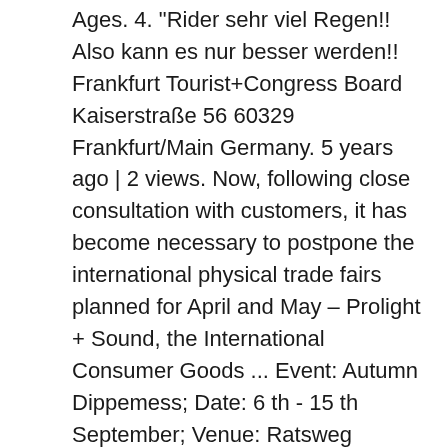Ages. 4. "Rider sehr viel Regen!! Also kann es nur besser werden!! Frankfurt Tourist+Congress Board Kaiserstraße 56 60329 Frankfurt/Main Germany. 5 years ago | 2 views. Now, following close consultation with customers, it has become necessary to postpone the international physical trade fairs planned for April and May – Prolight + Sound, the International Consumer Goods ... Event: Autumn Dippemess; Date: 6 th - 15 th September; Venue: Ratsweg Fairground Check Accommodation Availability. Download this stock image: Europe, Germany, Hesse, Frankfurt am Main, healing and health stones, stall at Dippemess - PJKP2R from Alamy's library of millions of high resolution stock photos, illustrations and vectors. The Olympics are just running and jumping. Aufgrund der aktuellen und auch zukünftigen Maßnahmen zur Verhinderung der weiteren Ausbreitung des Coronavirus (COVID-19), die sich von Bundesland zu Bundesland unterscheiden, sind deutschlandweit